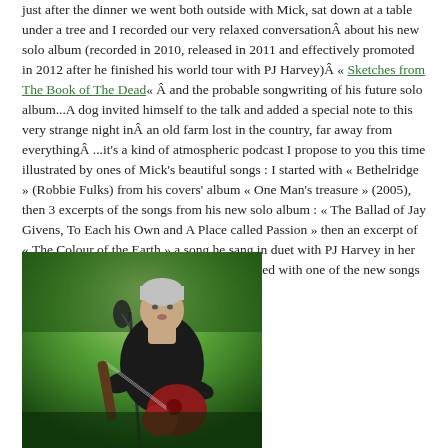just after the dinner we went both outside with Mick, sat down at a table under a tree and I recorded our very relaxed conversationÂ about his new solo album (recorded in 2010, released in 2011 and effectively promoted in 2012 after he finished his world tour with PJ Harvey)Â « Sketches from The Book of The Dead» Â and the probable songwriting of his future solo album...A dog invited himself to the talk and added a special note to this very strange night inÂ an old farm lost in the country, far away from everythingÂ ...it's a kind of atmospheric podcast I propose to you this time illustrated by ones of Mick's beautiful songs : I started with « Bethelridge » (Robbie Fulks) from his covers' album « One Man's treasure » (2005), then 3 excerpts of the songs from his new solo album : « The Ballad of Jay Givens, To Each his Own and A Place called Passion » then an excerpt of « The Colour of the Earth » a song he sang in duet with PJ Harvey in her last album « Let Egland Shake » and I finished with one of the new songs « Two Paintings ».
[Figure (photo): Photo of a man with grey hair playing a red electric guitar on a green-lit stage, wearing a dark t-shirt, in front of a microphone]